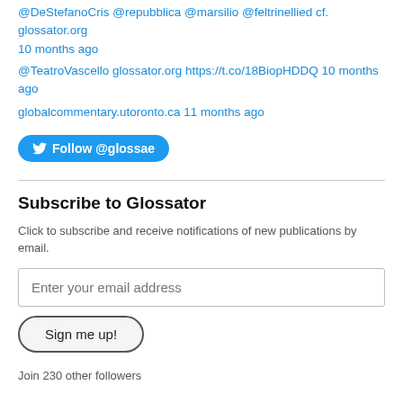@DeStefanoCris @repubblica @marsilio @feltrinellied cf. glossator.org 10 months ago
@TeatroVascello glossator.org https://t.co/18BiopHDDQ 10 months ago
globalcommentary.utoronto.ca 11 months ago
[Figure (other): Follow @glossae button on Twitter]
Subscribe to Glossator
Click to subscribe and receive notifications of new publications by email.
Enter your email address
Sign me up!
Join 230 other followers